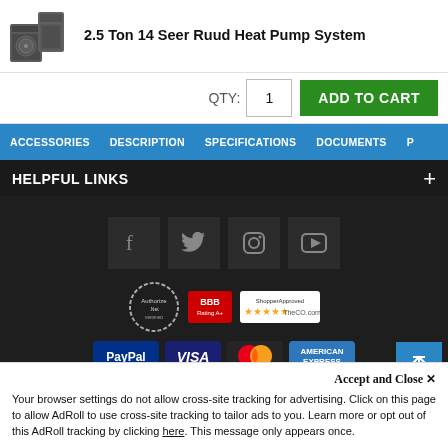2.5 Ton 14 Seer Ruud Heat Pump System
QTY: 1  ADD TO CART
ACCESSORIES  DESCRIPTION  SPECIFICATIONS  DOCUMENTS  P
HELPFUL LINKS
[Figure (logo): Social media icons: Facebook, Twitter, Instagram, YouTube on dark background]
[Figure (logo): Trust badges: Authorize.Net seal, BBB rating badge, ShopperApproved 5-star badge]
[Figure (logo): Payment method badges: PayPal, Visa, Mastercard, American Express]
Accept and Close ✕
Your browser settings do not allow cross-site tracking for advertising. Click on this page to allow AdRoll to use cross-site tracking to tailor ads to you. Learn more or opt out of this AdRoll tracking by clicking here. This message only appears once.